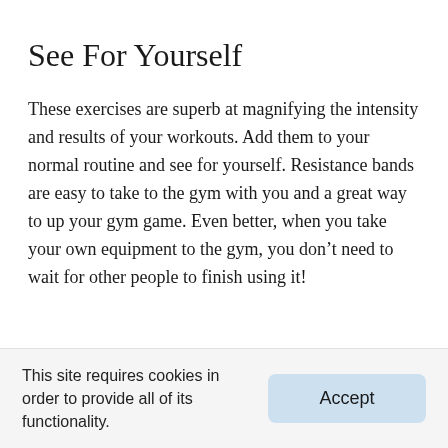See For Yourself
These exercises are superb at magnifying the intensity and results of your workouts. Add them to your normal routine and see for yourself. Resistance bands are easy to take to the gym with you and a great way to up your gym game. Even better, when you take your own equipment to the gym, you don't need to wait for other people to finish using it!
This site requires cookies in order to provide all of its functionality.